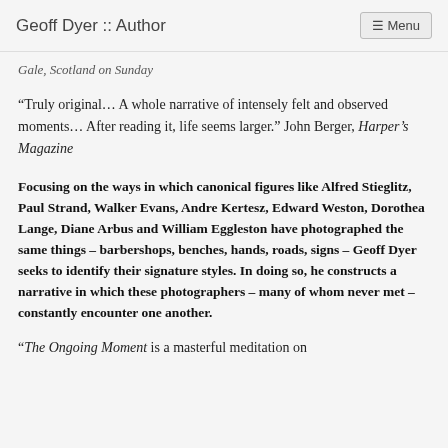Geoff Dyer :: Author  ☰ Menu
Gale, Scotland on Sunday
“Truly original… A whole narrative of intensely felt and observed moments… After reading it, life seems larger.” John Berger, Harper’s Magazine
Focusing on the ways in which canonical figures like Alfred Stieglitz, Paul Strand, Walker Evans, Andre Kertesz, Edward Weston, Dorothea Lange, Diane Arbus and William Eggleston have photographed the same things – barbershops, benches, hands, roads, signs – Geoff Dyer seeks to identify their signature styles. In doing so, he constructs a narrative in which these photographers – many of whom never met – constantly encounter one another.
“The Ongoing Moment is a masterful meditation on